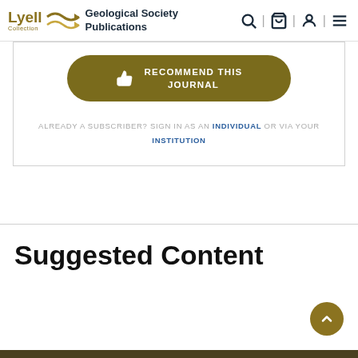Lyell Collection | Geological Society Publications
RECOMMEND THIS JOURNAL
ALREADY A SUBSCRIBER? SIGN IN AS AN INDIVIDUAL OR VIA YOUR INSTITUTION
Suggested Content